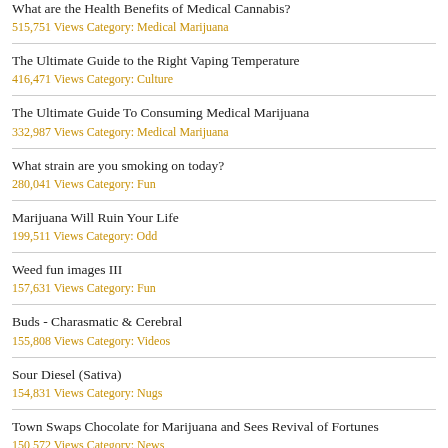What are the Health Benefits of Medical Cannabis?
515,751 Views Category: Medical Marijuana
The Ultimate Guide to the Right Vaping Temperature
416,471 Views Category: Culture
The Ultimate Guide To Consuming Medical Marijuana
332,987 Views Category: Medical Marijuana
What strain are you smoking on today?
280,041 Views Category: Fun
Marijuana Will Ruin Your Life
199,511 Views Category: Odd
Weed fun images III
157,631 Views Category: Fun
Buds - Charasmatic & Cerebral
155,808 Views Category: Videos
Sour Diesel (Sativa)
154,831 Views Category: Nugs
Town Swaps Chocolate for Marijuana and Sees Revival of Fortunes
150,572 Views Category: News